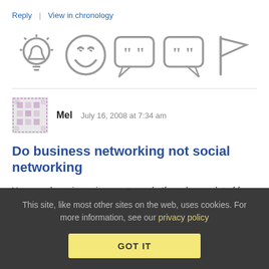Reply | View in chronology
[Figure (infographic): Row of 5 icons: lightbulb, laughing emoji, speech bubble with quote marks, chat bubble with quote marks, flag]
Mel   July 16, 2008 at 7:34 am
Do business networking not social networking
Your employer is paying you to work. If you have a lot of free time, use it to gain more knowledge about your work or expand your skills or network inside the company. This will help you.
This site, like most other sites on the web, uses cookies. For more information, see our privacy policy
GOT IT